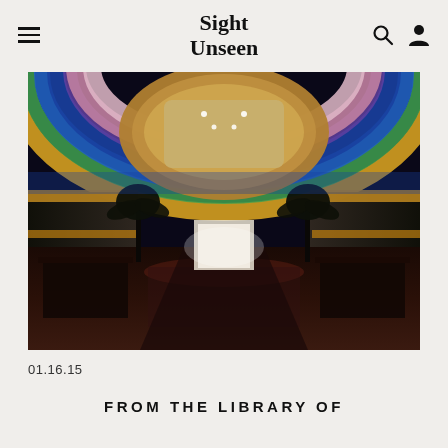Sight Unseen
[Figure (photo): Interior of a large banquet/event hall with a dramatic colorful illuminated ceiling featuring concentric oval layers of pink, blue, green, yellow and purple light. The room is set up with tables and chairs leading to a bright doorway in the background. Palm trees flank the sides.]
01.16.15
FROM THE LIBRARY OF